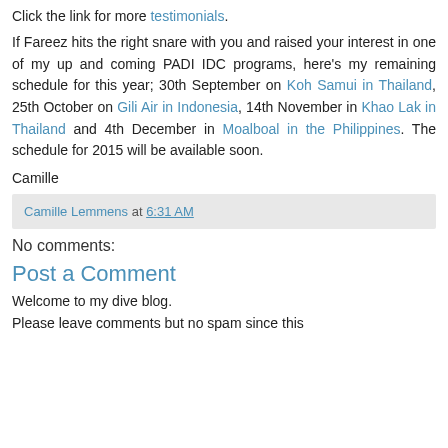Click the link for more testimonials.
If Fareez hits the right snare with you and raised your interest in one of my up and coming PADI IDC programs, here's my remaining schedule for this year; 30th September on Koh Samui in Thailand, 25th October on Gili Air in Indonesia, 14th November in Khao Lak in Thailand and 4th December in Moalboal in the Philippines. The schedule for 2015 will be available soon.
Camille
Camille Lemmens at 6:31 AM
No comments:
Post a Comment
Welcome to my dive blog.
Please leave comments but no spam since this